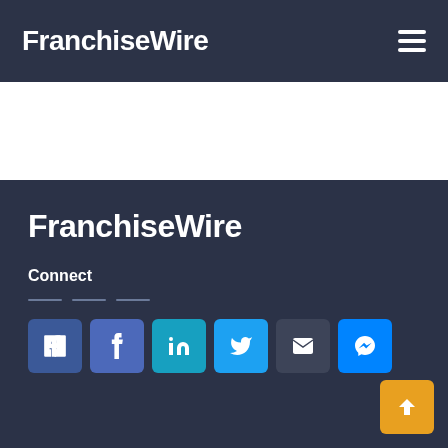FranchiseWire
FranchiseWire
Connect
[Figure (screenshot): Social media icon buttons: Facebook (dark), Facebook (light), LinkedIn, Twitter, Email, Messenger]
[Figure (other): Back to top button with upward arrow]